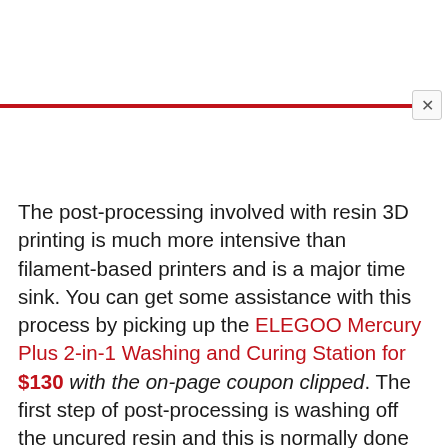The post-processing involved with resin 3D printing is much more intensive than filament-based printers and is a major time sink. You can get some assistance with this process by picking up the ELEGOO Mercury Plus 2-in-1 Washing and Curing Station for $130 with the on-page coupon clipped. The first step of post-processing is washing off the uncured resin and this is normally done with Isopropyl Alcohol. This station will stir the alcohol to get all the resin off. Then you can take the model and cure it with the UV light bar built into the station. This whole unit will make cleaning parts off much easier.